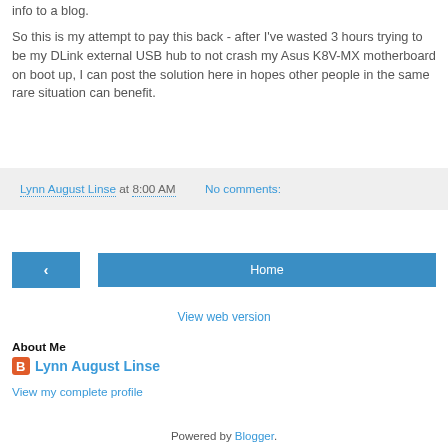info to a blog.
So this is my attempt to pay this back - after I've wasted 3 hours trying to be my DLink external USB hub to not crash my Asus K8V-MX motherboard on boot up, I can post the solution here in hopes other people in the same rare situation can benefit.
Lynn August Linse at 8:00 AM   No comments:
[Figure (other): Navigation buttons: left arrow button and Home button]
View web version
About Me
Lynn August Linse
View my complete profile
Powered by Blogger.